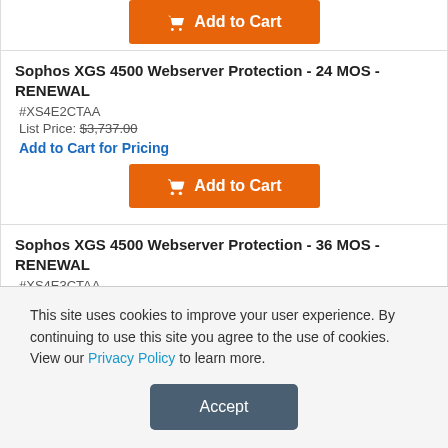Add to Cart (partial, top)
Sophos XGS 4500 Webserver Protection - 24 MOS - RENEWAL
#XS4E2CTAA
List Price: $3,737.00
Add to Cart for Pricing
Sophos XGS 4500 Webserver Protection - 36 MOS - RENEWAL
#XS4E3CTAA
List Price: $5,125.00
Add to Cart for Pricing
This site uses cookies to improve your user experience. By continuing to use this site you agree to the use of cookies. View our Privacy Policy to learn more.